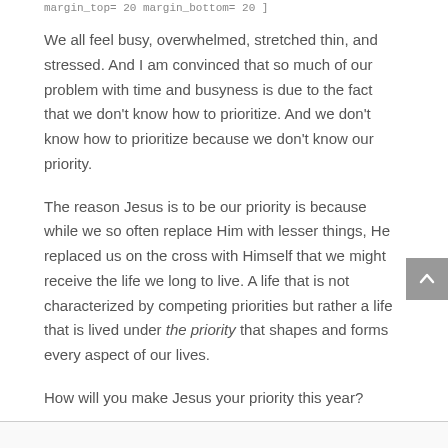margin_top= 20  margin_bottom= 20 ]
We all feel busy, overwhelmed, stretched thin, and stressed. And I am convinced that so much of our problem with time and busyness is due to the fact that we don't know how to prioritize. And we don't know how to prioritize because we don't know our priority.
The reason Jesus is to be our priority is because while we so often replace Him with lesser things, He replaced us on the cross with Himself that we might receive the life we long to live. A life that is not characterized by competing priorities but rather a life that is lived under the priority that shapes and forms every aspect of our lives.
How will you make Jesus your priority this year?